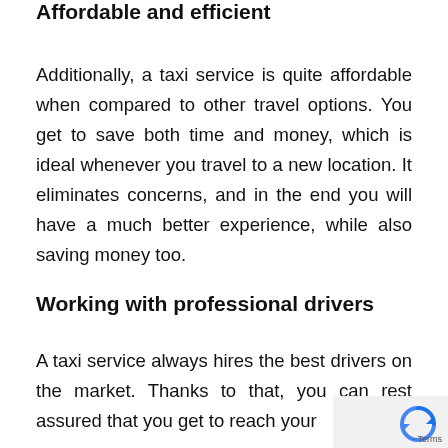Affordable and efficient
Additionally, a taxi service is quite affordable when compared to other travel options. You get to save both time and money, which is ideal whenever you travel to a new location. It eliminates concerns, and in the end you will have a much better experience, while also saving money too.
Working with professional drivers
A taxi service always hires the best drivers on the market. Thanks to that, you can rest assured that you get to reach your destination fast and comfortably.